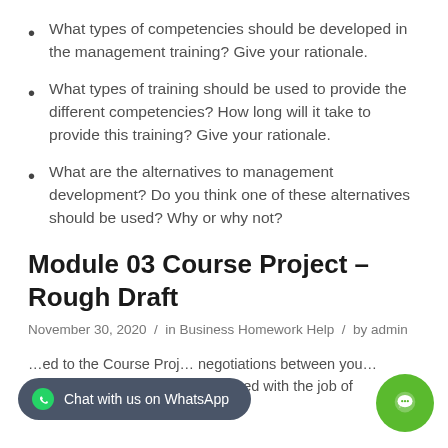What types of competencies should be developed in the management training? Give your rationale.
What types of training should be used to provide the different competencies? How long will it take to provide this training? Give your rationale.
What are the alternatives to management development? Do you think one of these alternatives should be used? Why or why not?
Module 03 Course Project – Rough Draft
November 30, 2020  /  in Business Homework Help  /  by admin
...ed to the Course Proj... ...gotiations between you... Mr. Barker are done, you are tasked with the job of